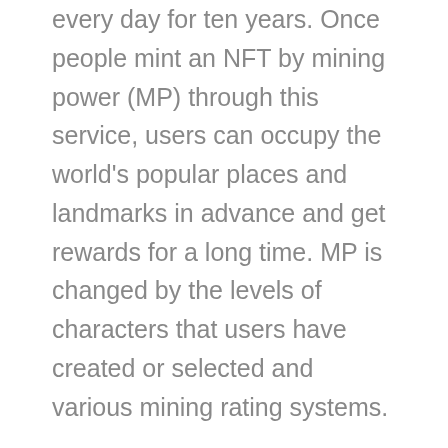every day for ten years. Once people mint an NFT by mining power (MP) through this service, users can occupy the world's popular places and landmarks in advance and get rewards for a long time. MP is changed by the levels of characters that users have created or selected and various mining rating systems.
Minted character NFT acquires mining power (MP), which becomes the standard of staking pool. In addition, the rewarded STC is planned to be exchanged to KLAY via KLAY swap and converted into cash.
Since users can participate in the minting on Klaytn this time, they need a Kaikas or Metamask wallet for using the service. Check KlayStore website (https://klaystore.io/) for more information. KlayStore is planning opening events on